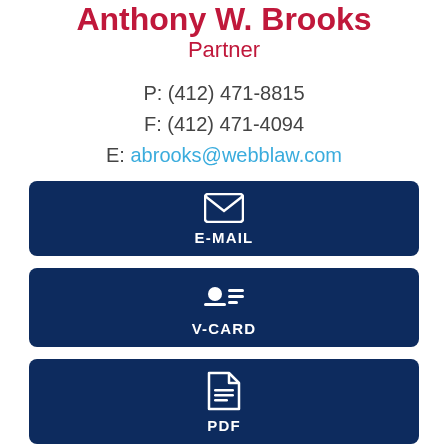Anthony W. Brooks
Partner
P: (412) 471-8815
F: (412) 471-4094
E: abrooks@webblaw.com
[Figure (infographic): Dark navy button with envelope icon and label E-MAIL]
[Figure (infographic): Dark navy button with vcard/contact icon and label V-CARD]
[Figure (infographic): Dark navy button with document icon and label PDF]